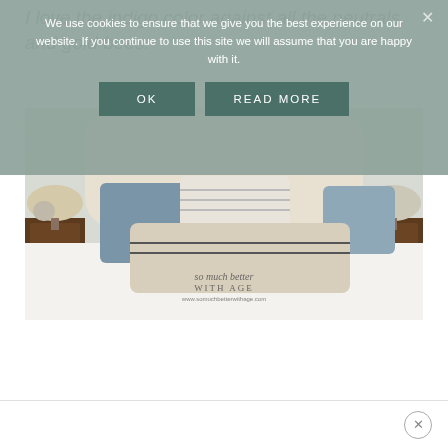I love the indigo color against all the neutrals and gold bees.
[Figure (photo): Bedroom photo showing an upholstered headboard with bee-patterned wallpaper, blue and neutral pillows, white bedding, dark wood nightstands, and a watermark reading 'so much better WITH AGE www.somuchbetterwithage.com']
We use cookies to ensure that we give you the best experience on our website. If you continue to use this site we will assume that you are happy with it.
OK
READ MORE